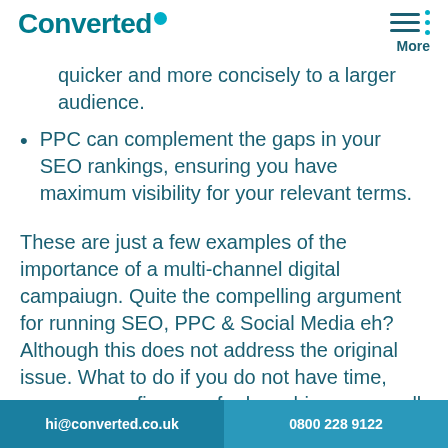Converted | More
quicker and more concisely to a larger audience.
PPC can complement the gaps in your SEO rankings, ensuring you have maximum visibility for your relevant terms.
These are just a few examples of the importance of a multi-channel digital campaiugn. Quite the compelling argument for running SEO, PPC & Social Media eh? Although this does not address the original issue. What to do if you do not have time, resources or finances for launching across all
hi@converted.co.uk | 0800 228 9122